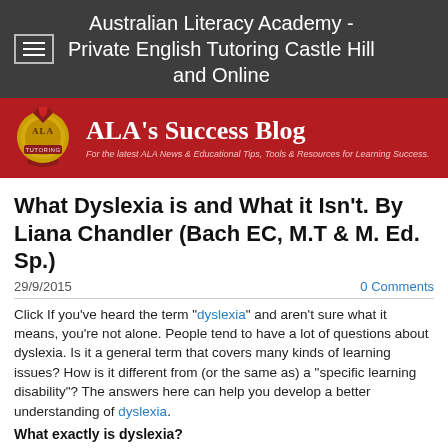Australian Literacy Academy - Private English Tutoring Castle Hill and Online
[Figure (logo): ALA's Success Blog banner with gold medal logo on red background]
What Dyslexia is and What it Isn't.  By Liana Chandler (Bach EC, M.T & M. Ed. Sp.)
29/9/2015    0 Comments
Click If you've heard the term "dyslexia" and aren't sure what it means, you're not alone.  People tend to have a lot of questions about dyslexia.  Is it a general term that covers many kinds of learning issues?  How is it different from (or the same as) a "specific learning disability"?  The answers here can help you develop a better understanding of dyslexia.
What exactly is dyslexia?
Dyslexia is a brain-based condition.  It causes difficulty with reading,